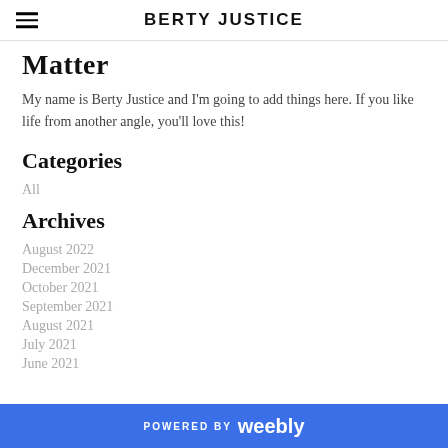BERTY JUSTICE
Matter
My name is Berty Justice and I'm going to add things here. If you like life from another angle, you'll love this!
Categories
All
Archives
August 2022
December 2021
October 2021
September 2021
August 2021
July 2021
June 2021
POWERED BY weebly